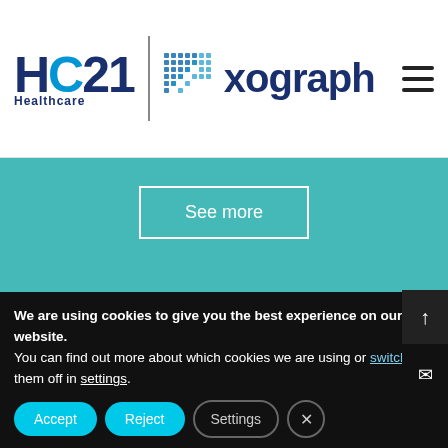[Figure (logo): HC21 Healthcare and Xograph combined logo with hamburger menu icon in white header bar]
See more
[Figure (other): Teal/green background section]
[Figure (other): Dark charcoal gradient background section]
We are using cookies to give you the best experience on our website.
You can find out more about which cookies we are using or switch them off in settings.
Accept
Reject
Settings